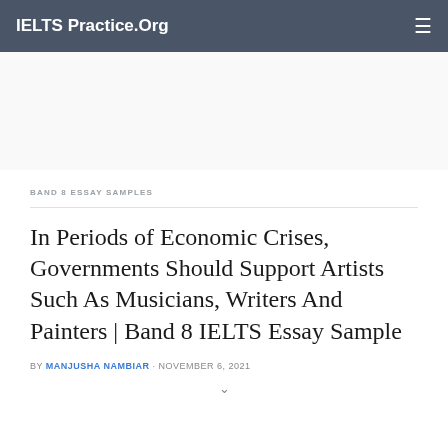IELTS Practice.Org
BAND 8 ESSAY SAMPLES
In Periods of Economic Crises, Governments Should Support Artists Such As Musicians, Writers And Painters | Band 8 IELTS Essay Sample
BY MANJUSHA NAMBIAR · NOVEMBER 6, 2021